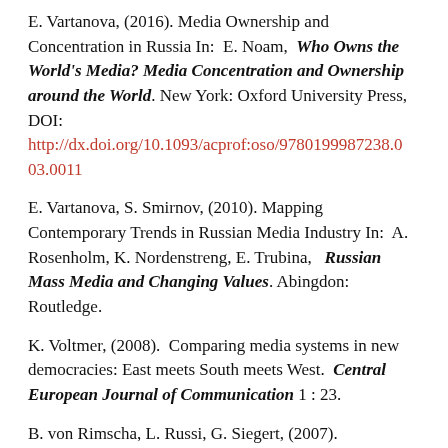E. Vartanova, (2016). Media Ownership and Concentration in Russia In: E. Noam, Who Owns the World's Media? Media Concentration and Ownership around the World. New York: Oxford University Press, DOI: http://dx.doi.org/10.1093/acprof:oso/9780199987238.003.0011
E. Vartanova, S. Smirnov, (2010). Mapping Contemporary Trends in Russian Media Industry In: A. Rosenholm, K. Nordenstreng, E. Trubina, Russian Mass Media and Changing Values. Abingdon: Routledge.
K. Voltmer, (2008). Comparing media systems in new democracies: East meets South meets West. Central European Journal of Communication 1 : 23.
B. von Rimscha, L. Russi, G. Siegert, (2007). Forecasting